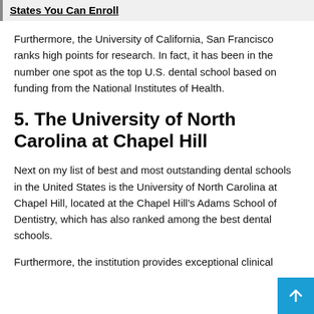States You Can Enroll
Furthermore, the University of California, San Francisco ranks high points for research. In fact, it has been in the number one spot as the top U.S. dental school based on funding from the National Institutes of Health.
5. The University of North Carolina at Chapel Hill
Next on my list of best and most outstanding dental schools in the United States is the University of North Carolina at Chapel Hill, located at the Chapel Hill's Adams School of Dentistry, which has also ranked among the best dental schools.
Furthermore, the institution provides exceptional clinical